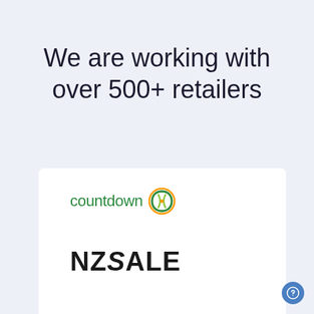We are working with over 500+ retailers
[Figure (logo): Countdown supermarket logo with green text and Woolworths-style circular icon]
[Figure (logo): NZSale logo in bold black text with italic slash between NZ and SALE]